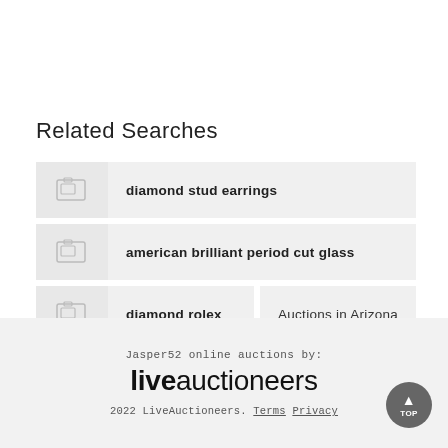Related Searches
diamond stud earrings
american brilliant period cut glass
diamond rolex
Auctions in Arizona
Jasper52 online auctions by: liveauctioneers 2022 LiveAuctioneers. Terms Privacy